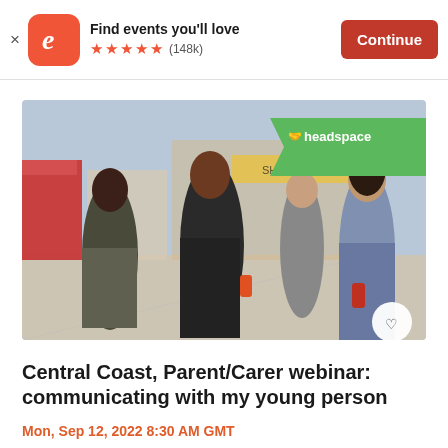Find events you'll love ★★★★★ (148k) Continue
[Figure (photo): Group of young people walking together along a shopping street, smiling and holding drinks. Headspace logo badge in top-right corner of image.]
Central Coast, Parent/Carer webinar: communicating with my young person
Mon, Sep 12, 2022 8:30 AM GMT